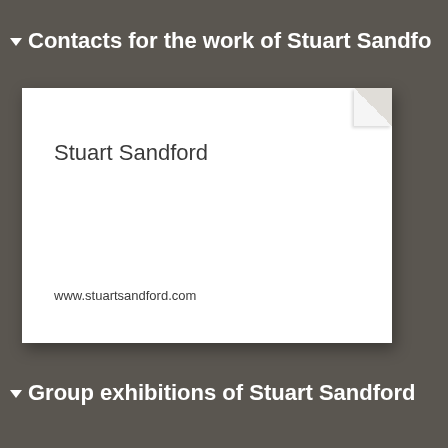▼ Contacts for the work of Stuart Sandfo…
[Figure (other): A white card/document with a dog-ear folded corner at top-right, displaying the name 'Stuart Sandford' and website 'www.stuartsandford.com']
▼ Group exhibitions of Stuart Sandford